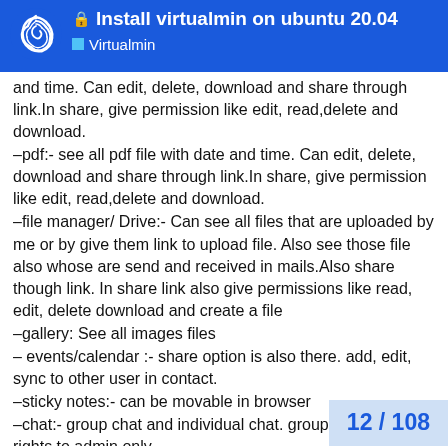Install virtualmin on ubuntu 20.04 | Virtualmin
and time. Can edit, delete, download and share through link.In share, give permission like edit, read,delete and download.
–pdf:- see all pdf file with date and time. Can edit, delete, download and share through link.In share, give permission like edit, read,delete and download.
–file manager/ Drive:- Can see all files that are uploaded by me or by give them link to upload file. Also see those file also whose are send and received in mails.Also share though link. In share link also give permissions like read, edit, delete download and create a file
–gallery: See all images files
– events/calendar :- share option is also there. add, edit, sync to other user in contact.
–sticky notes:- can be movable in browser
–chat:- group chat and individual chat. group chat have rights to admin only.
–admin;- please see whatsapp
–contacts: office and individual. Ca
12 / 108